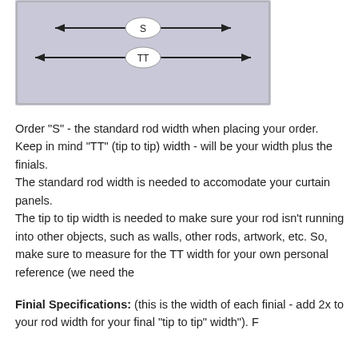[Figure (engineering-diagram): Diagram showing rod width measurements. A rectangle with lavender/grey background contains two horizontal double-headed arrows spanning the width. The top arrow is labeled 'S' (standard rod width) with an oval label in the center. The bottom arrow is labeled 'TT' (tip to tip width) with an oval label in the center and extends slightly wider than the top arrow.]
Order "S" - the standard rod width when placing your order. Keep in mind "TT" (tip to tip) width - will be your width plus the finials. The standard rod width is needed to accomodate your curtain panels. The tip to tip width is needed to make sure your rod isn't running into other objects, such as walls, other rods, artwork, etc. So, make sure to measure for the TT width for your own personal reference (we need the
Finial Specifications: (this is the width of each finial - add 2x to your rod width for your final "tip to tip" width"). F